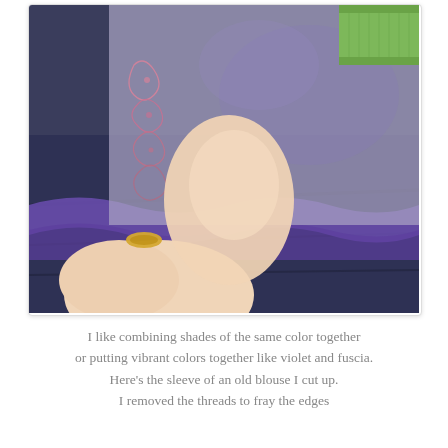[Figure (photo): A hand holding up the edge of a purple/lavender sheer blouse sleeve with pink embroidery along the border. The top right corner shows a green ribbon/tape edge. The fabric is layered with a dark navy fabric underneath. Photo has a white card border.]
I like combining shades of the same color together or putting vibrant colors together like violet and fuscia. Here's the sleeve of an old blouse I cut up. I removed the threads to fray the edges
[Figure (photo): A flat lay photo showing fabric pieces: a sheer grey/lavender fabric square with green ribbon trim at the top, a dark navy fabric underneath, and bright fuchsia/hot pink frayed fabric in the center. A hand is partially visible in the lower right.]